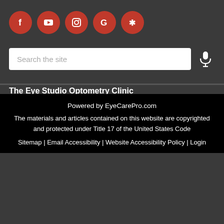[Figure (illustration): Five red circular social media icons: Facebook (f), YouTube (play button), Instagram (camera), Google (G), Yelp (star/burst)]
[Figure (screenshot): Search bar with placeholder text 'Search the site' and a microphone icon to the right]
The Eye Studio Optometry Clinic
104-488 McCoy Dr
Red Deer County, AB T4E 0A4
Phone: 403-352-8846
https://www.theeyestudio.ca
Powered by EyeCarePro.com
The materials and articles contained on this website are copyrighted and protected under Title 17 of the United States Code
Sitemap | Email Accessibility | Website Accessibility Policy | Login